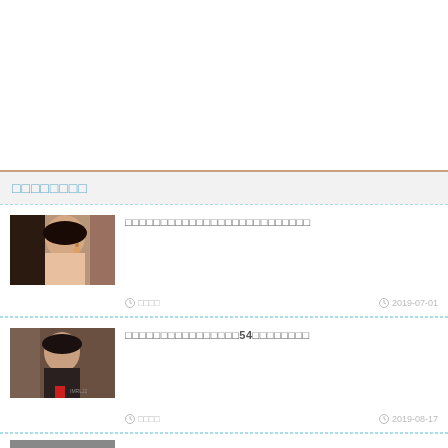□□□□□□□□
[Figure (photo): Chinese actress in traditional costume with earrings]
□□□□□□□□□□□□□□□□□□□□□□□□□□
□□□□  2019-07-01
[Figure (photo): Older Chinese woman in dark traditional clothing with red flower]
□□□□□□□□□□□□□□□□54□□□□□□□□
□□□□  2019-08-17
[Figure (photo): Partial view of third article thumbnail]